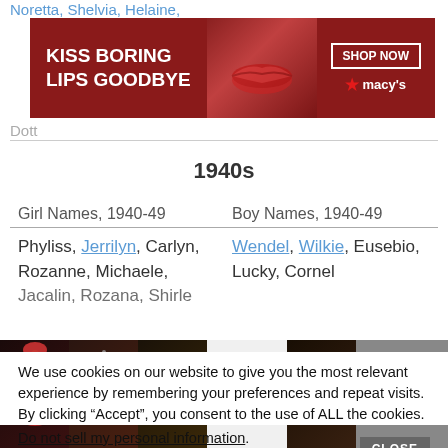Noretta, Shelvia, Helaine,
[Figure (advertisement): Macy's lipstick ad: KISS BORING LIPS GOODBYE with SHOP NOW button and Macy's star logo, woman with red lips]
Dott
1940s
| Girl Names, 1940-49 | Boy Names, 1940-49 |
| --- | --- |
| Phyliss, Jerrilyn, Carlyn, Rozanne, Michaele, | Wendel, Wilkie, Eusebio, Lucky, Cornel |
We use cookies on our website to give you the most relevant experience by remembering your preferences and repeat visits. By clicking “Accept”, you consent to the use of ALL the cookies.
Do not sell my personal information.
[Figure (advertisement): Ulta Beauty ad with makeup faces, Ulta logo, and SHOP NOW button]